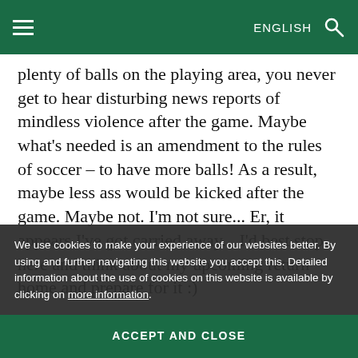≡   ENGLISH  🔍
plenty of balls on the playing area, you never get to hear disturbing news reports of mindless violence after the game. Maybe what's needed is an amendment to the rules of soccer – to have more balls! As a result, maybe less ass would be kicked after the game. Maybe not. I'm not sure... Er, it appears I've got carried away... I'd best stop here and think about my upcoming return home and prepare for it :)
Mention of home reminds me – it's KL's 15th... report shortly after...
We use cookies to make your experience of our websites better. By using and further navigating this website you accept this. Detailed information about the use of cookies on this website is available by clicking on more information.
ACCEPT AND CLOSE